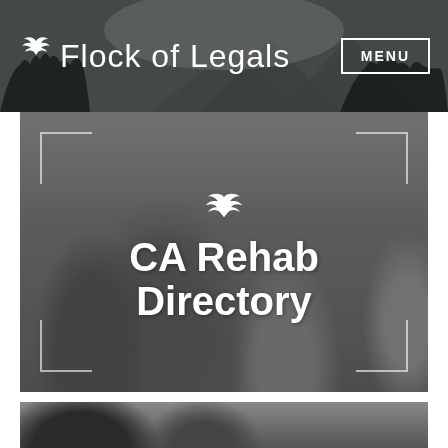[Figure (screenshot): Website header for 'Flock of Legals' with dark background showing forest/mountain silhouette. Logo with white bird icon and text 'Flock of Legals' on the left, 'MENU' button with white border on the right.]
[Figure (photo): Hero image section showing a group therapy or counseling session with several people seated in a circle. Dark grey overlay. White bird/eagle logo icon above the text 'CA Rehab Directory' in large white bold font. Corner bracket decorations at all four corners.]
[Figure (photo): Partial bottom strip showing another photo, appears to be a person, cropped at the bottom of the page.]